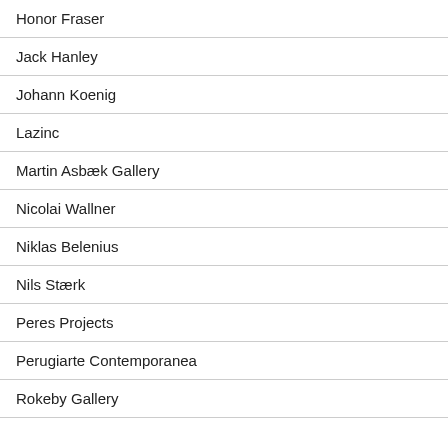Honor Fraser
Jack Hanley
Johann Koenig
Lazinc
Martin Asbæk Gallery
Nicolai Wallner
Niklas Belenius
Nils Stærk
Peres Projects
Perugiarte Contemporanea
Rokeby Gallery